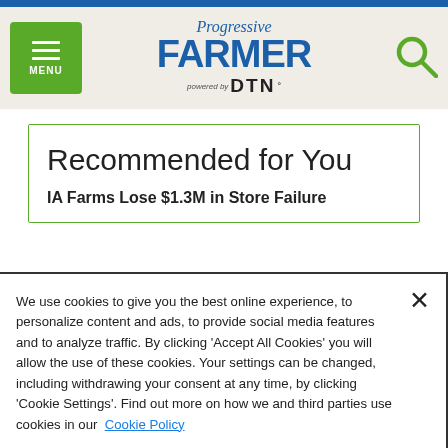Progressive Farmer powered by DTN — MENU / Search
Recommended for You
IA Farms Lose $1.3M in Store Failure
We use cookies to give you the best online experience, to personalize content and ads, to provide social media features and to analyze traffic. By clicking 'Accept All Cookies' you will allow the use of these cookies. Your settings can be changed, including withdrawing your consent at any time, by clicking 'Cookie Settings'. Find out more on how we and third parties use cookies in our Cookie Policy
Cookies Settings
Accept All Cookies